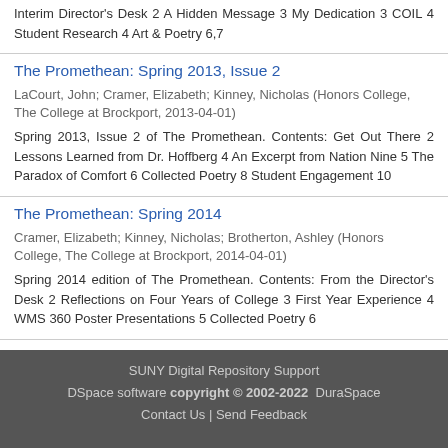Interim Director's Desk 2 A Hidden Message 3 My Dedication 3 COIL 4 Student Research 4 Art & Poetry 6,7
The Promethean: Spring 2013, Issue 2
LaCourt, John; Cramer, Elizabeth; Kinney, Nicholas (Honors College, The College at Brockport, 2013-04-01)
Spring 2013, Issue 2 of The Promethean. Contents: Get Out There 2 Lessons Learned from Dr. Hoffberg 4 An Excerpt from Nation Nine 5 The Paradox of Comfort 6 Collected Poetry 8 Student Engagement 10
The Promethean: Spring 2014
Cramer, Elizabeth; Kinney, Nicholas; Brotherton, Ashley (Honors College, The College at Brockport, 2014-04-01)
Spring 2014 edition of The Promethean. Contents: From the Director's Desk 2 Reflections on Four Years of College 3 First Year Experience 4 WMS 360 Poster Presentations 5 Collected Poetry 6
SUNY Digital Repository Support
DSpace software copyright © 2002-2022 DuraSpace
Contact Us | Send Feedback